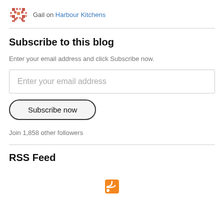Gail on Harbour Kitchens
Subscribe to this blog
Enter your email address and click Subscribe now.
Enter your email address
Subscribe now
Join 1,858 other followers
RSS Feed
[Figure (logo): RSS feed icon - orange square with white radio waves]